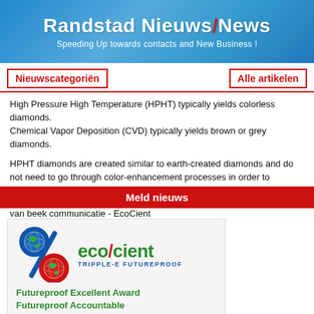Randstad Nieuws/News — Speeding Up towards contacts and New Business !
Nieuwscategoriën | Alle artikelen
High Pressure High Temperature (HPHT) typically yields colorless diamonds. Chemical Vapor Deposition (CVD) typically yields brown or grey diamonds.
HPHT diamonds are created similar to earth-created diamonds and do not need to go through color-enhancement processes in order to resemble earth-created diamonds.
Meld nieuws
van beek communicatie - EcoCient
[Figure (logo): eco/cient logo with globe percent sign graphic and text TRIPPLE-E FUTUREPROOF]
Futureproof Excellent Award
Futureproof Accountable